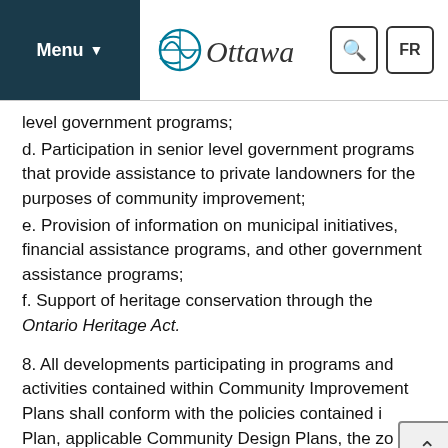Menu | Ottawa | Search | FR
level government programs;
d. Participation in senior level government programs that provide assistance to private landowners for the purposes of community improvement;
e. Provision of information on municipal initiatives, financial assistance programs, and other government assistance programs;
f. Support of heritage conservation through the Ontario Heritage Act.
8. All developments participating in programs and activities contained within Community Improvement Plans shall conform with the policies contained in this Plan, applicable Community Design Plans, the zoning by-law, any site plan approval and other applicable requirements.